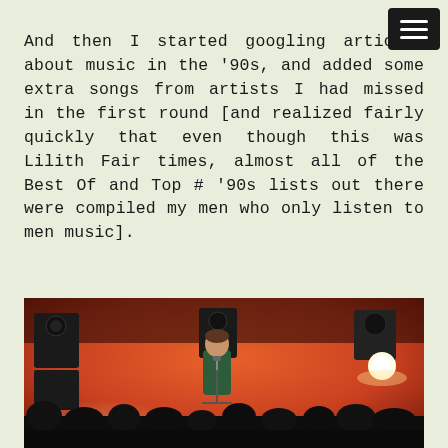And then I started googling articles about music in the '90s, and added some extra songs from artists I had missed in the first round [and realized fairly quickly that even though this was Lilith Fair times, almost all of the Best Of and Top # '90s lists out there were compiled my men who only listen to men music].
[Figure (photo): A performer in a green suit singing into a microphone on a concert stage with dramatic orange/red lighting, spotlight beams, audio equipment visible in background, audience silhouettes in foreground.]